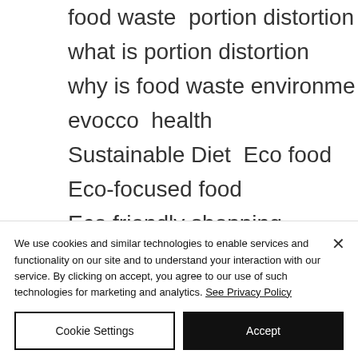food waste  portion distortion
what is portion distortion
why is food waste environme
evocco  health
Sustainable Diet  Eco food
Eco-focused food
Eco friendly shopping
We use cookies and similar technologies to enable services and functionality on our site and to understand your interaction with our service. By clicking on accept, you agree to our use of such technologies for marketing and analytics. See Privacy Policy
Cookie Settings
Accept